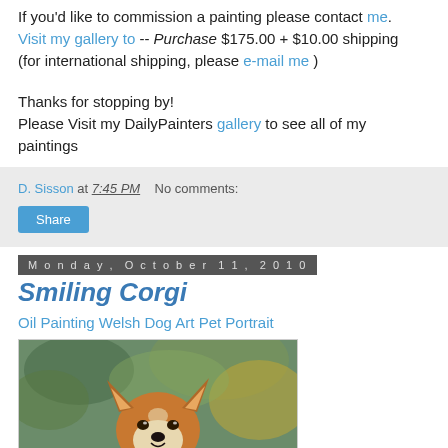If you'd like to commission a painting please contact me. Visit my gallery to -- Purchase $175.00 + $10.00 shipping (for international shipping, please e-mail me )
Thanks for stopping by! Please Visit my DailyPainters gallery to see all of my paintings
D. Sisson at 7:45 PM   No comments:
Share
Monday, October 11, 2010
Smiling Corgi
Oil Painting Welsh Dog Art Pet Portrait
[Figure (photo): Oil painting of a Corgi dog, close-up portrait with a green and golden blurred background, the dog has orange/tan and white fur with alert ears.]